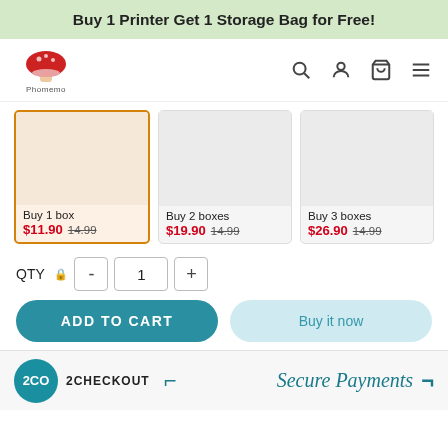Buy 1 Printer Get 1 Storage Bag for Free!
[Figure (logo): Phomemo mushroom logo — red mushroom icon with brand name below]
[Figure (infographic): Three product bundle cards: Buy 1 box ($11.90, was 14.99, selected/highlighted), Buy 2 boxes ($19.90, was 14.99), Buy 3 boxes ($26.90, was 14.99)]
QTY  -  1  +
ADD TO CART
Buy it now
[Figure (logo): 2Checkout (2CO) logo circle and text, with Secure Payments text in teal]